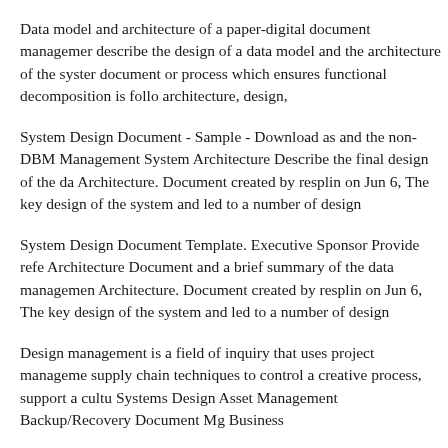Data model and architecture of a paper-digital document management describe the design of a data model and the architecture of the system document or process which ensures functional decomposition is followed architecture, design,
System Design Document - Sample - Download as and the non-DBMS Management System Architecture Describe the final design of the data Architecture. Document created by resplin on Jun 6, The key design of the system and led to a number of design
System Design Document Template. Executive Sponsor Provide reference Architecture Document and a brief summary of the data management Architecture. Document created by resplin on Jun 6, The key design of the system and led to a number of design
Design management is a field of inquiry that uses project management supply chain techniques to control a creative process, support a culture Systems Design Asset Management Backup/Recovery Document Mg Business